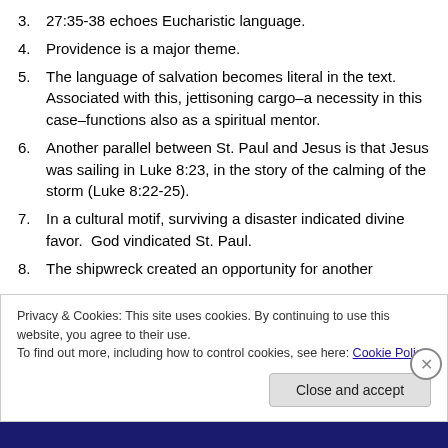3. 27:35-38 echoes Eucharistic language.
4. Providence is a major theme.
5. The language of salvation becomes literal in the text. Associated with this, jettisoning cargo–a necessity in this case–functions also as a spiritual mentor.
6. Another parallel between St. Paul and Jesus is that Jesus was sailing in Luke 8:23, in the story of the calming of the storm (Luke 8:22-25).
7. In a cultural motif, surviving a disaster indicated divine favor.  God vindicated St. Paul.
8. The shipwreck created an opportunity for another
Privacy & Cookies: This site uses cookies. By continuing to use this website, you agree to their use.
To find out more, including how to control cookies, see here: Cookie Policy
Close and accept